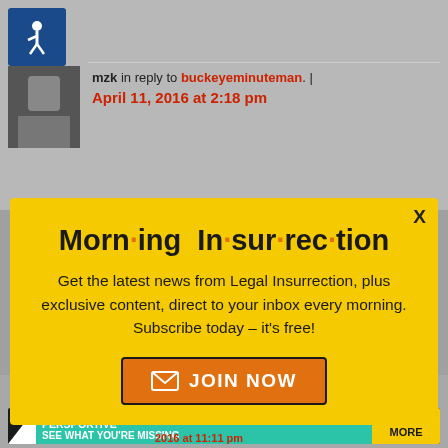[Figure (screenshot): Website comment section showing user 'mzk in reply to buckeyeminuteman' dated April 11, 2016 at 2:18 pm, with a pop-up newsletter subscription box for 'Morning Insurrection' newsletter from Legal Insurrection, with a JOIN NOW button, overlaid on a gray webpage background. Bottom shows an advertisement banner 'THE PERSPECTIVE - SEE WHAT YOU'RE MISSING - READ MORE'.]